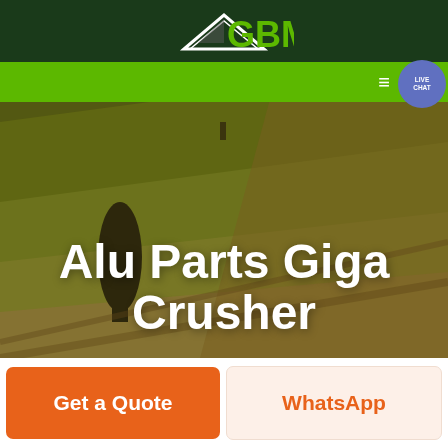[Figure (logo): GBM logo with white arrow/triangle graphic and bold green GBM text on dark green background]
[Figure (photo): Aerial view of agricultural fields with green and golden tones, with overlaid large white bold text reading 'Alu Parts Giga Crusher', with a live chat button (blue circle) in top right corner and green navigation bar]
Alu Parts Giga Crusher
Get a Quote
WhatsApp